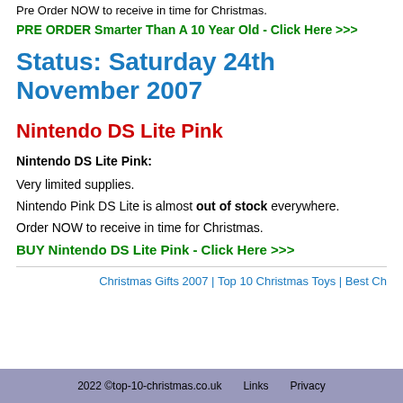Pre Order NOW to receive in time for Christmas.
PRE ORDER Smarter Than A 10 Year Old - Click Here >>>
Status: Saturday 24th November 2007
Nintendo DS Lite Pink
Nintendo DS Lite Pink:
Very limited supplies.
Nintendo Pink DS Lite is almost out of stock everywhere.
Order NOW to receive in time for Christmas.
BUY Nintendo DS Lite Pink - Click Here >>>
Christmas Gifts 2007 | Top 10 Christmas Toys | Best Ch...
2022 ©top-10-christmas.co.uk   Links   Privacy